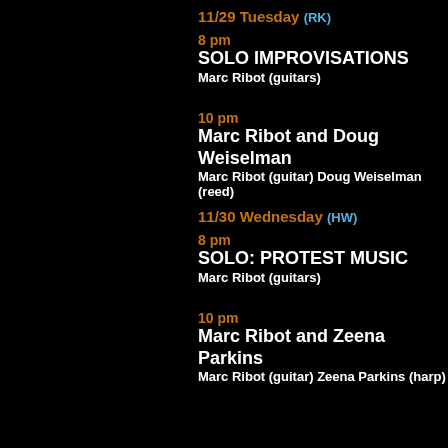11/29 Tuesday (RK)
8 pm
SOLO IMPROVISATIONS
Marc Ribot (guitars)
10 pm
Marc Ribot and Doug Weiselman
Marc Ribot (guitar) Doug Weiselman (reed)
11/30 Wednesday (HW)
8 pm
SOLO: PROTEST MUSIC
Marc Ribot (guitars)
10 pm
Marc Ribot and Zeena Parkins
Marc Ribot (guitar) Zeena Parkins (harp)